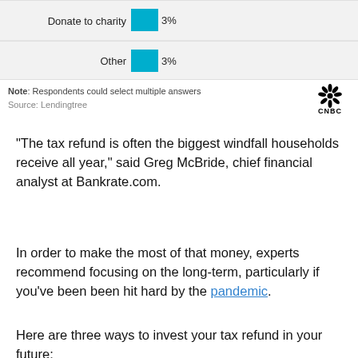[Figure (bar-chart): Partial bar chart]
Note: Respondents could select multiple answers
Source: Lendingtree
“The tax refund is often the biggest windfall households receive all year,” said Greg McBride, chief financial analyst at Bankrate.com.
In order to make the most of that money, experts recommend focusing on the long-term, particularly if you’ve been been hit hard by the pandemic.
Here are three ways to invest your tax refund in your future: